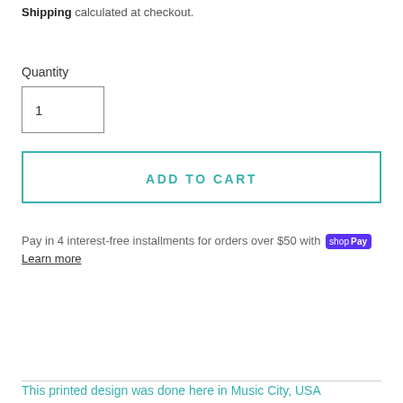Shipping calculated at checkout.
Quantity
1
ADD TO CART
Pay in 4 interest-free installments for orders over $50 with shop Pay Learn more
This printed design was done here in Music City, USA